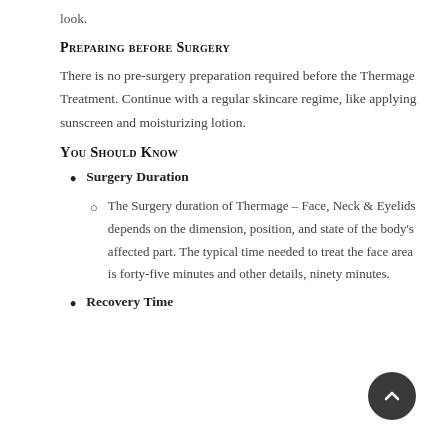look.
Preparing before Surgery
There is no pre-surgery preparation required before the Thermage Treatment. Continue with a regular skincare regime, like applying sunscreen and moisturizing lotion.
You Should Know
Surgery Duration
The Surgery duration of Thermage – Face, Neck & Eyelids depends on the dimension, position, and state of the body's affected part. The typical time needed to treat the face area is forty-five minutes and other details, ninety minutes.
Recovery Time